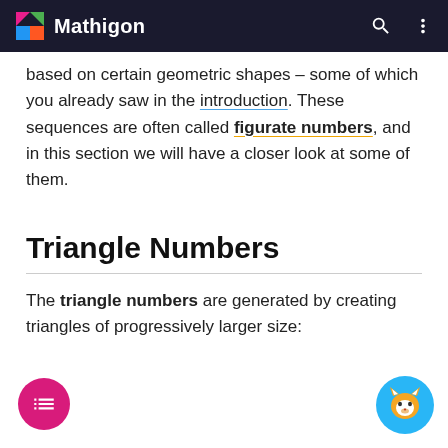Mathigon
based on certain geometric shapes – some of which you already saw in the introduction. These sequences are often called figurate numbers, and in this section we will have a closer look at some of them.
Triangle Numbers
The triangle numbers are generated by creating triangles of progressively larger size: